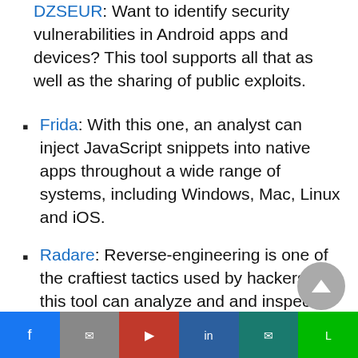DZSEUR: Want to identify security vulnerabilities in Android apps and devices? This tool supports all that as well as the sharing of public exploits.
Frida: With this one, an analyst can inject JavaScript snippets into native apps throughout a wide range of systems, including Windows, Mac, Linux and iOS.
Radare: Reverse-engineering is one of the craftiest tactics used by hackers, but this tool can analyze and and inspect iOS and Android binaries to prevent disaster.